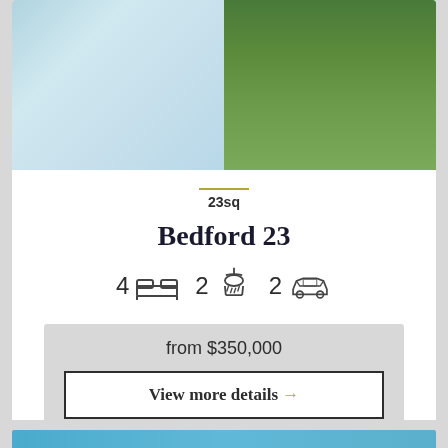[Figure (photo): Aerial view of a house with driveway/patio on the left and garden/lawn on the right]
23sq
Bedford 23
4 [bed icon] 2 [bath icon] 2 [car icon]
from $350,000
View more details →
Preview +